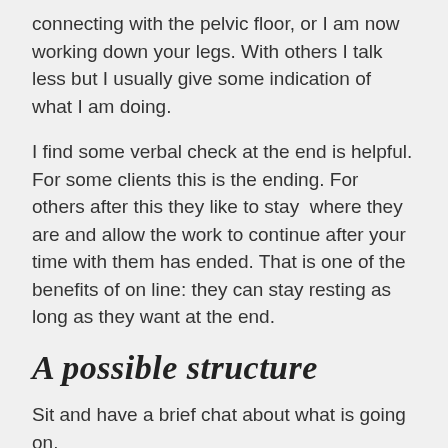connecting with the pelvic floor, or I am now working down your legs. With others I talk less but I usually give some indication of what I am doing.
I find some verbal check at the end is helpful. For some clients this is the ending. For others after this they like to stay  where they are and allow the work to continue after your time with them has ended. That is one of the benefits of on line: they can stay resting as long as they want at the end.
A possible structure
Sit and have a brief chat about what is going on.
Listen to what they say but also observe: their posture, their gestures, how they say what they say. Use this as a time for you to tune in to the client .
Ask them if there is a focus for the session, or suggest one based on what you have observed.